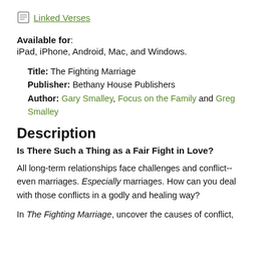Linked Verses
Available for: iPad, iPhone, Android, Mac, and Windows.
Title: The Fighting Marriage
Publisher: Bethany House Publishers
Author: Gary Smalley, Focus on the Family and Greg Smalley
Description
Is There Such a Thing as a Fair Fight in Love?
All long-term relationships face challenges and conflict-- even marriages. Especially marriages. How can you deal with those conflicts in a godly and healing way?
In The Fighting Marriage, uncover the causes of conflict,